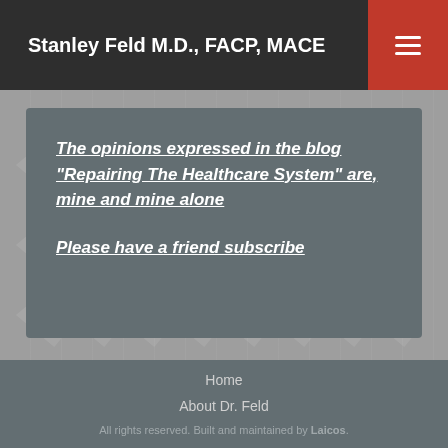Stanley Feld M.D., FACP, MACE
The opinions expressed in the blog “Repairing The Healthcare System” are, mine and mine alone
Please have a friend subscribe
Home
About Dr. Feld
All rights reserved. Built and maintained by Laicos.